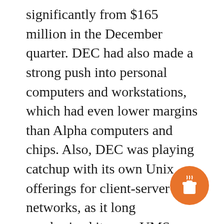significantly from $165 million in the December quarter. DEC had also made a strong push into personal computers and workstations, which had even lower margins than Alpha computers and chips. Also, DEC was playing catchup with its own Unix offerings for client-server networks, as it long emphasized its own VMS software, while corporate computer users based their client-server networks on the industry-standard Unix software (of which Hewlett Packard was one of the market leaders). DEC's problems were similar to that of larger rival IBM, due to the fundamental shift in the computer industry that made it unlikely that DEC could ever again operate profitably at its former size of 120,000
[Figure (illustration): Orange circular badge with a coffee cup icon (takeaway cup with lid and steam), overlaid on the bottom-right of the text.]